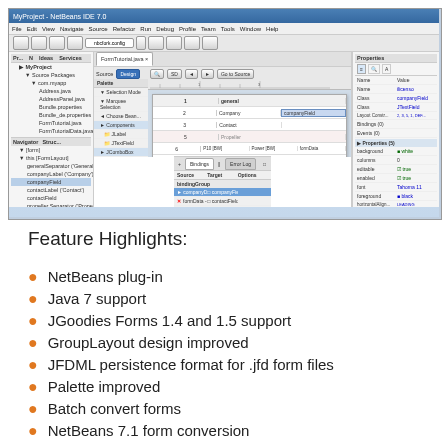[Figure (screenshot): NetBeans IDE 7.0 showing JFormDesigner plugin with a form tutorial open, displaying project tree, form designer canvas with JFormDesigner watermark, palette panel, bindings panel, error log, and properties panel.]
Feature Highlights:
NetBeans plug-in
Java 7 support
JGoodies Forms 1.4 and 1.5 support
GroupLayout design improved
JFDML persistence format for .jfd form files
Palette improved
Batch convert forms
NetBeans 7.1 form conversion